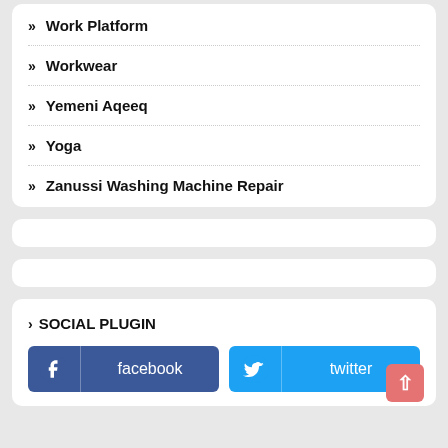Work Platform
Workwear
Yemeni Aqeeq
Yoga
Zanussi Washing Machine Repair
> SOCIAL PLUGIN
[Figure (other): Facebook and Twitter social plugin buttons]